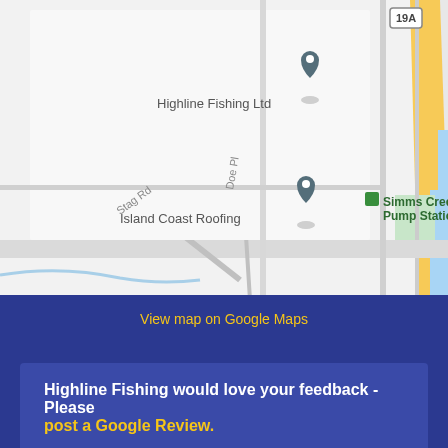[Figure (map): Google Maps screenshot showing location of Highline Fishing Ltd, Island Coast Roofing, Natasha Rowe RMT, Simms Creek Pump Station, and Axelss on Passage View Dr. Roads include Stag Rd, Doe Pl, and highway 19A visible on the right edge.]
View map on Google Maps
Highline Fishing would love your feedback - Please post a Google Review.